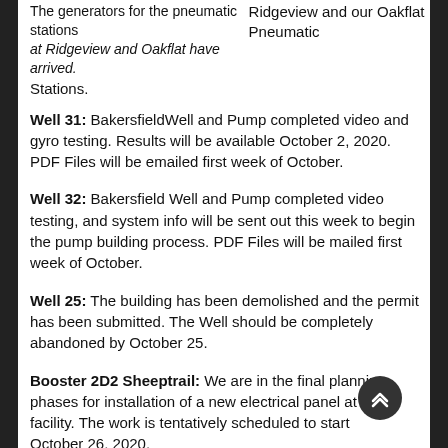The generators for the pneumatic stations at Ridgeview and Oakflat have arrived.
Ridgeview and our Oakflat Pneumatic Stations.
Well 31: BakersfieldWell and Pump completed video and gyro testing. Results will be available October 2, 2020. PDF Files will be emailed first week of October.
Well 32: Bakersfield Well and Pump completed video testing, and system info will be sent out this week to begin the pump building process. PDF Files will be mailed first week of October.
Well 25: The building has been demolished and the permit has been submitted. The Well should be completely abandoned by October 25.
Booster 2D2 Sheeptrail: We are in the final planning phases for installation of a new electrical panel at the facility. The work is tentatively scheduled to start October 26, 2020.
Roads Division